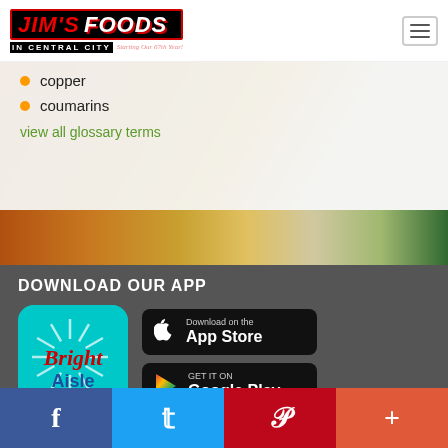JIM'S FOODS IN CENTRAL CITY - Starting Our 67th Year!
copper
coumarins
view all glossary terms
[Figure (photo): Food images strip showing various dishes]
DOWNLOAD OUR APP
[Figure (logo): Bright Aisle app icon - teal background with starburst and Bright Aisle text in red and blue]
[Figure (logo): Download on the App Store button]
[Figure (logo): GET IT ON Google Play button]
f  (Twitter bird)  P  +